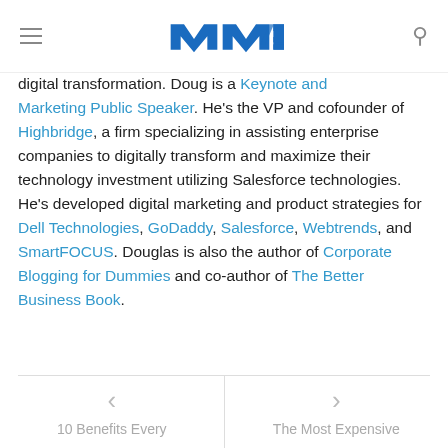MTE logo with hamburger menu and search icon
digital transformation. Doug is a Keynote and Marketing Public Speaker. He's the VP and cofounder of Highbridge, a firm specializing in assisting enterprise companies to digitally transform and maximize their technology investment utilizing Salesforce technologies. He's developed digital marketing and product strategies for Dell Technologies, GoDaddy, Salesforce, Webtrends, and SmartFOCUS. Douglas is also the author of Corporate Blogging for Dummies and co-author of The Better Business Book.
< 10 Benefits Every | The Most Expensive >